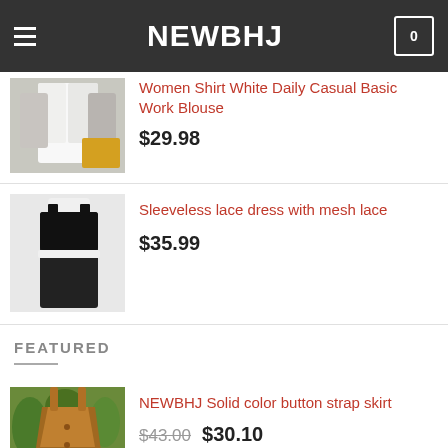NEWBHJ
[Figure (photo): White shirt / blouse product image]
Women Shirt White Daily Casual Basic Work Blouse
$29.98
[Figure (photo): Sleeveless black lace dress product image]
Sleeveless lace dress with mesh lace
$35.99
FEATURED
[Figure (photo): Brown solid color button strap skirt product image]
NEWBHJ Solid color button strap skirt
$43.00  $30.10
[Figure (photo): Placeholder image for sexy T-shirt high-necked blouse]
sexy T-shirt high-necked blouse
$33.99